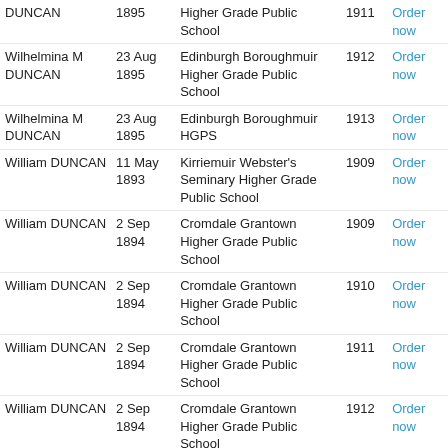| Name | Date | School | Year | Action |
| --- | --- | --- | --- | --- |
| DUNCAN | 1895 | Higher Grade Public School | 1911 | Order now |
| Wilhelmina M DUNCAN | 23 Aug 1895 | Edinburgh Boroughmuir Higher Grade Public School | 1912 | Order now |
| Wilhelmina M DUNCAN | 23 Aug 1895 | Edinburgh Boroughmuir HGPS | 1913 | Order now |
| William DUNCAN | 11 May 1893 | Kirriemuir Webster's Seminary Higher Grade Public School | 1909 | Order now |
| William DUNCAN | 2 Sep 1894 | Cromdale Grantown Higher Grade Public School | 1909 | Order now |
| William DUNCAN | 2 Sep 1894 | Cromdale Grantown Higher Grade Public School | 1910 | Order now |
| William DUNCAN | 2 Sep 1894 | Cromdale Grantown Higher Grade Public School | 1911 | Order now |
| William DUNCAN | 2 Sep 1894 | Cromdale Grantown Higher Grade Public School | 1912 | Order now |
| William DUNCAN | 12 Jan 1895 | Broughty Ferry Grove Academy Higher Grade Public School | 1910 | Order now |
| William DUNCAN | 4 Oct | Glasgow Allan Glen's |  | Order |